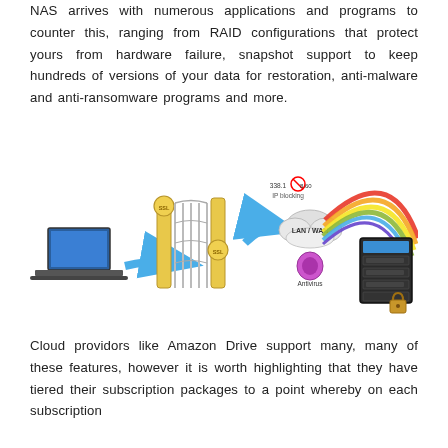NAS arrives with numerous applications and programs to counter this, ranging from RAID configurations that protect yours from hardware failure, snapshot support to keep hundreds of versions of your data for restoration, anti-malware and anti-ransomware programs and more.
[Figure (infographic): Security diagram showing a laptop on the left sending data through a gate/firewall with SSL badges, a blue arrow pointing through to LAN/WAN cloud with IP blocking and Antivirus labels, and a rainbow arc connecting to a NAS device with a padlock on the right.]
Cloud providors like Amazon Drive support many, many of these features, however it is worth highlighting that they have tiered their subscription packages to a point whereby on each subscription